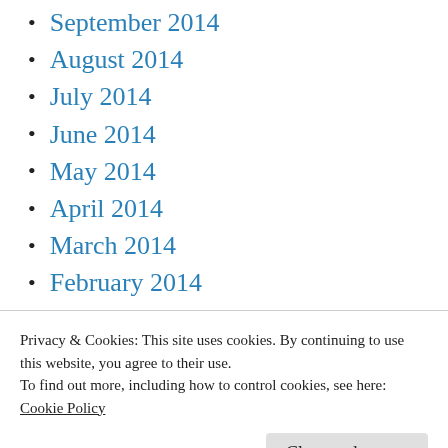September 2014
August 2014
July 2014
June 2014
May 2014
April 2014
March 2014
February 2014
January 2014
December 2013
November 2013
Privacy & Cookies: This site uses cookies. By continuing to use this website, you agree to their use.
To find out more, including how to control cookies, see here:
Cookie Policy
June 2013